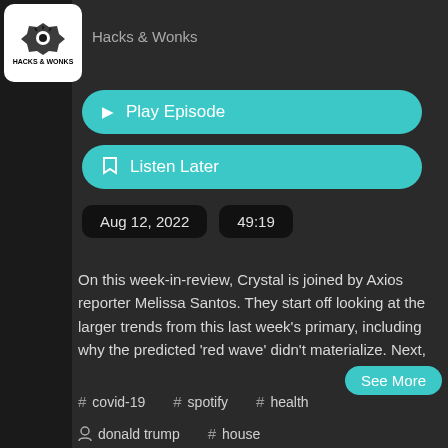[Figure (logo): Hacks & Wonks podcast logo: white square with stylized face/eye icon and text HACKS & WONKS]
Hacks & Wonks
▶ Play Episode
🔖 Listen Later
Aug 12, 2022   49:19
On this week-in-review, Crystal is joined by Axios reporter Melissa Santos. They start off looking at the larger trends from this last week's primary, including why the predicted 'red wave' didn't materialize. Next,
See More
# covid-19
# spotify
# health
👤 donald trump
# house